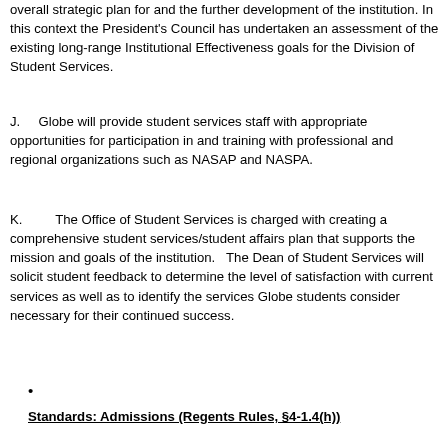overall strategic plan for and the further development of the institution.  In this context the President's Council has undertaken an assessment of the existing long-range Institutional Effectiveness goals for the Division of Student Services.
J.    Globe will provide student services staff with appropriate opportunities for participation in and training with professional and regional organizations such as NASAP and NASPA.
K.        The Office of Student Services is charged with creating a comprehensive student services/student affairs plan that supports the mission and goals of the institution.   The Dean of Student Services will solicit student feedback to determine the level of satisfaction with current services as well as to identify the services Globe students consider necessary for their continued success.
•
Standards:  Admissions (Regents Rules, §4-1.4(h))